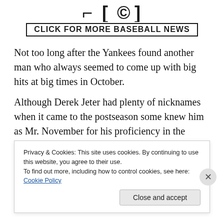[Figure (logo): Baseball-themed logo/banner with hat icons]
CLICK FOR MORE BASEBALL NEWS
Not too long after the Yankees found another man who always seemed to come up with big hits at big times in October.
Although Derek Jeter had plenty of nicknames when it came to the postseason some knew him as Mr. November for his proficiency in the extended postseason that usually went to the early part of November.
(partial/obscured text)
Privacy & Cookies: This site uses cookies. By continuing to use this website, you agree to their use.
To find out more, including how to control cookies, see here: Cookie Policy
Close and accept